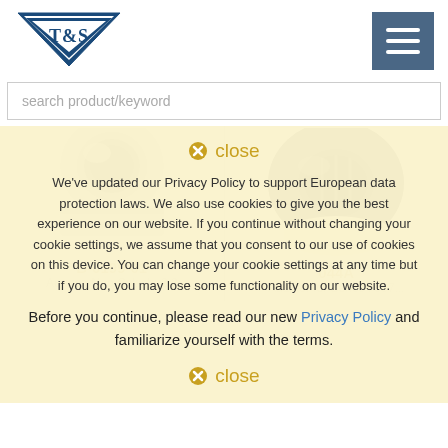[Figure (logo): T&S Brass logo - blue triangle/shield shape with T&S text]
[Figure (screenshot): Hamburger menu icon (three horizontal lines) on dark blue-grey background]
search product/keyword
[Figure (photo): Chrome aerator non-splash 2.2 product photo - B-0199-01]
[Figure (photo): Black adapter for Series #037 product photo - 044A]
B-0199-01
Aerator, Non-Splash, 2.2
044A
Adapter for Series #037...
close
We've updated our Privacy Policy to support European data protection laws. We also use cookies to give you the best experience on our website. If you continue without changing your cookie settings, we assume that you consent to our use of cookies on this device. You can change your cookie settings at any time but if you do, you may lose some functionality on our website.
Before you continue, please read our new Privacy Policy and familiarize yourself with the terms.
close